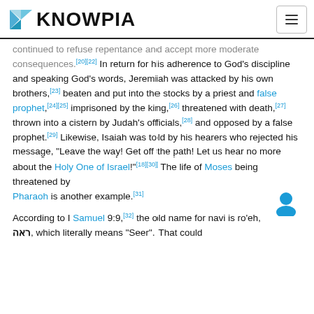KNOWPIA
continued to refuse repentance and accept more moderate consequences.[20][22] In return for his adherence to God's discipline and speaking God's words, Jeremiah was attacked by his own brothers,[23] beaten and put into the stocks by a priest and false prophet,[24][25] imprisoned by the king,[26] threatened with death,[27] thrown into a cistern by Judah's officials,[28] and opposed by a false prophet.[29] Likewise, Isaiah was told by his hearers who rejected his message, "Leave the way! Get off the path! Let us hear no more about the Holy One of Israel!"[18][30] The life of Moses being threatened by Pharaoh is another example.[31]
According to I Samuel 9:9,[32] the old name for navi is ro'eh, ראה, which literally means "Seer". That could